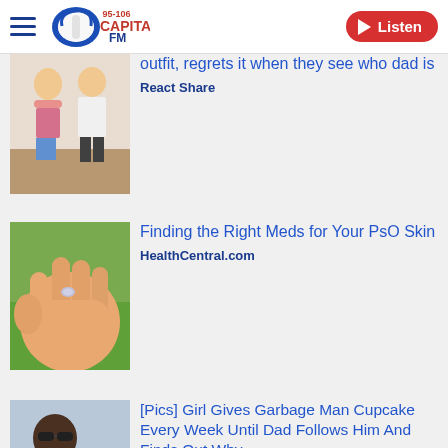95-106 Capital FM | Listen
[Figure (screenshot): Thumbnail image of two people, a girl and a boy]
outfit, regrets it when they see who dad is
React Share
[Figure (photo): Close-up of a hand holding a small pill or object against a green background]
Finding the Right Meds for Your PsO Skin
HealthCentral.com
[Figure (photo): A man with sunglasses and a young girl with a pink bow]
[Pics] Girl Gives Garbage Man Cupcake Every Week Until Dad Follows Him And Finds Out Why
HealthyGem